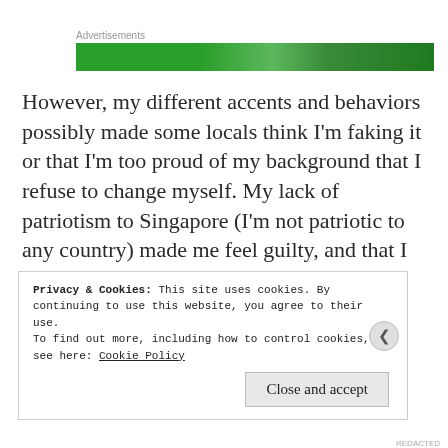[Figure (other): Advertisements label above a green banner advertisement]
However, my different accents and behaviors possibly made some locals think I'm faking it or that I'm too proud of my background that I refuse to change myself. My lack of patriotism to Singapore (I'm not patriotic to any country) made me feel guilty, and that I shouldn't even have a local identification card.
Privacy & Cookies: This site uses cookies. By continuing to use this website, you agree to their use.
To find out more, including how to control cookies, see here: Cookie Policy
Close and accept